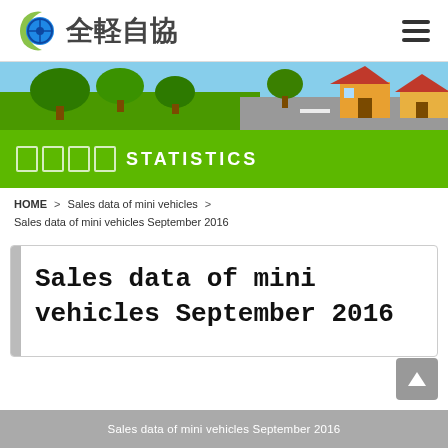全軽自協 STATISTICS
[Figure (illustration): Green hero banner with trees, road, and houses scene]
統計資料 STATISTICS
HOME > Sales data of mini vehicles > Sales data of mini vehicles September 2016
Sales data of mini vehicles September 2016
Sales data of mini vehicles September 2016